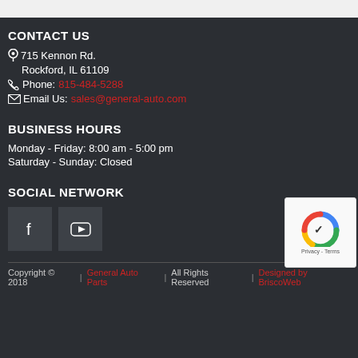CONTACT US
📍 715 Kennon Rd.
Rockford, IL 61109
📞 Phone: 815-484-5288
✉ Email Us: sales@general-auto.com
BUSINESS HOURS
Monday - Friday: 8:00 am - 5:00 pm
Saturday - Sunday: Closed
SOCIAL NETWORK
[Figure (other): Facebook and YouTube social media icon buttons]
Copyright © 2018  |  General Auto Parts  |  All Rights Reserved  |  Designed by BriscoWeb